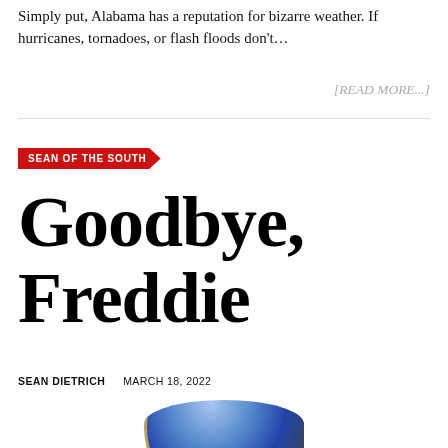Simply put, Alabama has a reputation for bizarre weather. If hurricanes, tornadoes, or flash floods don't…
[READ MORE...]
SEAN OF THE SOUTH
Goodbye, Freddie
SEAN DIETRICH   MARCH 18, 2022
[Figure (photo): Partial photo of a person wearing a blue and gold helmet or headgear, cropped at bottom of page]